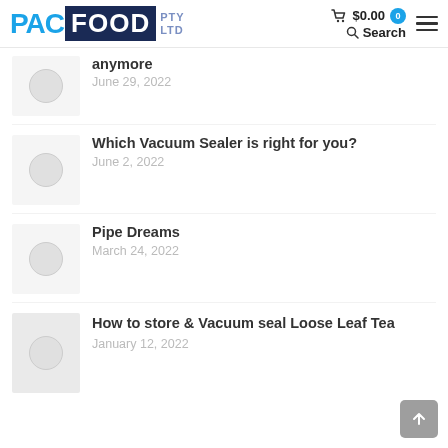[Figure (logo): PAC FOOD PTY LTD logo with cart showing $0.00, search icon, and hamburger menu]
anymore
June 29, 2022
Which Vacuum Sealer is right for you?
June 2, 2022
Pipe Dreams
March 24, 2022
How to store & Vacuum seal Loose Leaf Tea
January 12, 2022